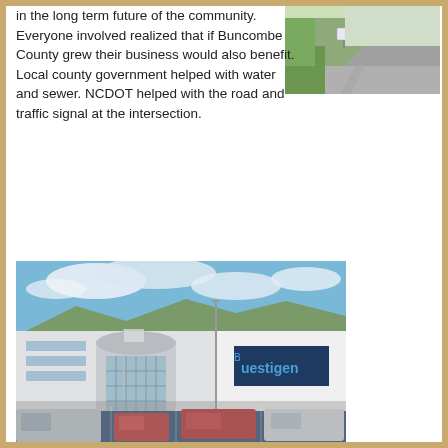in the long term future of the community. Everyone involved realized that if Buncombe County grew their business would also benefit. Local county government helped with water and sewer. NCDOT helped with the road and traffic signal at the intersection.
[Figure (photo): Aerial/road view of an industrial or commercial facility with a driveway, grass, and a sign in Buncombe County area]
[Figure (photo): Exterior photo of a large commercial/industrial building (Biltmore or similar) with blue and grey facade, parking lot with cars in front, mountains in background, blue sky with clouds]
[Figure (photo): Partial photo at bottom of page, blue sky visible, cropped]